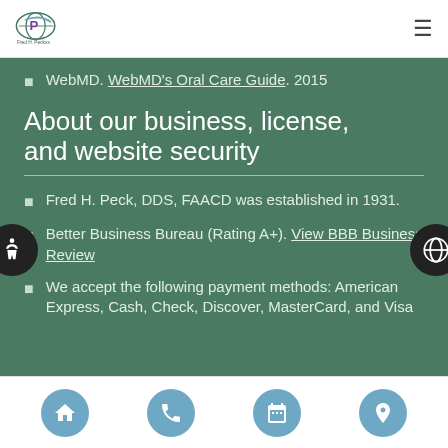Fred H. Peck – logo and navigation
WebMD. WebMD's Oral Care Guide. 2015
About our business, license, and website security
Fred H. Peck, DDS, FAACD was established in 1931.
Better Business Bureau (Rating A+). View BBB Business Review
We accept the following payment methods: American Express, Cash, Check, Discover, MasterCard, and Visa
Navigation: Home, Phone, Calendar, Location